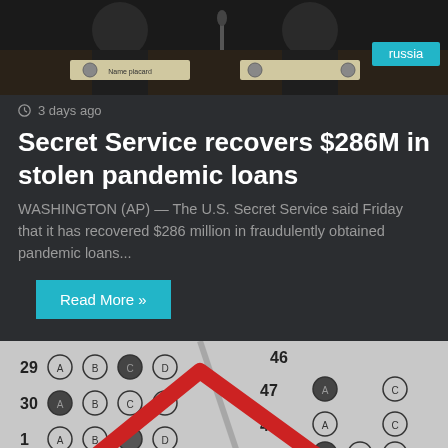[Figure (photo): Two men in suits sitting at a hearing or conference table with name placards, a teal 'russia' label visible in top right corner]
3 days ago
Secret Service recovers $286M in stolen pandemic loans
WASHINGTON (AP) — The U.S. Secret Service said Friday that it has recovered $286 million in fraudulently obtained pandemic loans...
Read More »
[Figure (photo): Multiple choice exam answer sheet (scantron) with circled answers and a large red downward-trending arrow overlaid on top, question numbers 29-52 visible]